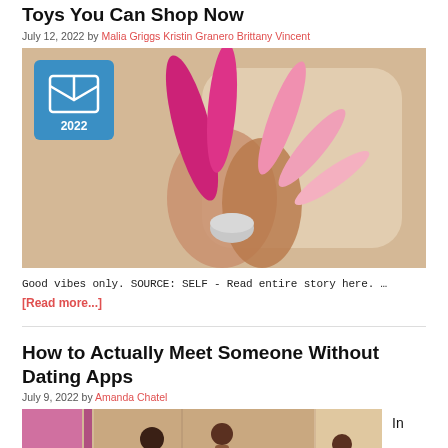Toys You Can Shop Now
July 12, 2022 by Malia Griggs Kristin Granero Brittany Vincent
[Figure (photo): Person holding multiple pink adult toy products against a beige background with a 2022 badge in the top left corner]
Good vibes only. SOURCE: SELF - Read entire story here. …
[Read more...]
How to Actually Meet Someone Without Dating Apps
July 9, 2022 by Amanda Chatel
[Figure (photo): Illustrated scene of people meeting in a colorful setting with pink and beige tones]
In